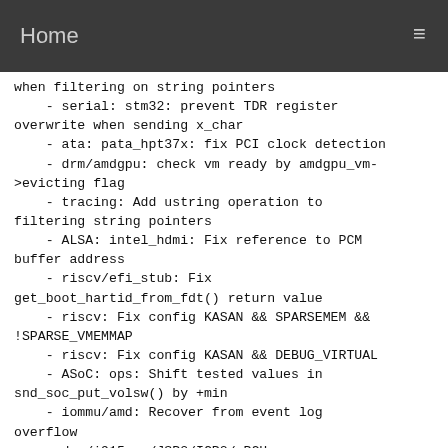Home
when filtering on string pointers
    - serial: stm32: prevent TDR register overwrite when sending x_char
    - ata: pata_hpt37x: fix PCI clock detection
    - drm/amdgpu: check vm ready by amdgpu_vm->evicting flag
    - tracing: Add ustring operation to filtering string pointers
    - ALSA: intel_hdmi: Fix reference to PCM buffer address
    - riscv/efi_stub: Fix get_boot_hartid_from_fdt() return value
    - riscv: Fix config KASAN && SPARSEMEM && !SPARSE_VMEMMAP
    - riscv: Fix config KASAN && DEBUG_VIRTUAL
    - ASoC: ops: Shift tested values in snd_soc_put_volsw() by +min
    - iommu/amd: Recover from event log overflow
    - drm/i915: s/JSP2/ICP2/_PCH